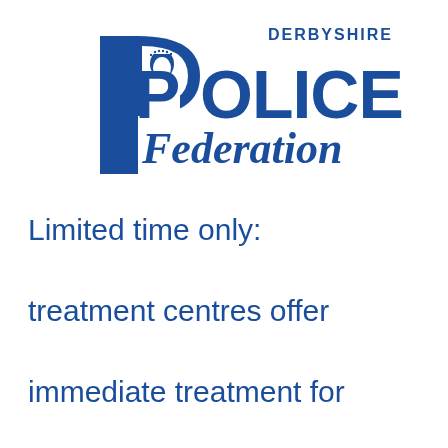[Figure (logo): Derbyshire Police Federation logo — blue stylized letter P with officer silhouette, text POLICE in large bold blue, DERBYSHIRE above in smaller blue caps, Federation in italic blue below]
Limited time only: treatment centres offer immediate treatment for new joiners